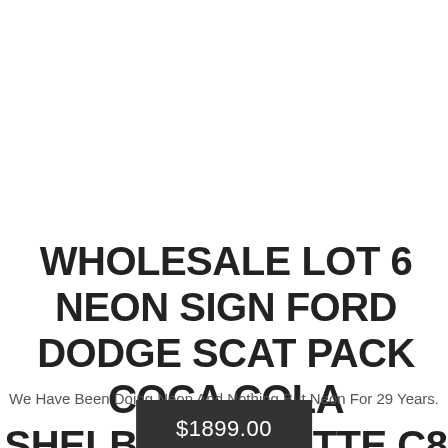WHOLESALE LOT 6 NEON SIGN FORD DODGE SCAT PACK COCA COLA SHELBY CORVETTE C8 OLP
We Have Been Doing Neon And Nothing But Neon For 29 Years.
$1899.00